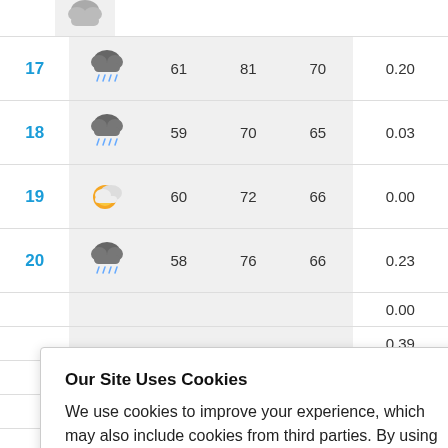| Day | Icon | Low | High | Avg | Precip |
| --- | --- | --- | --- | --- | --- |
| 17 | [rain icon] | 61 | 81 | 70 | 0.20 |
| 18 | [rain icon] | 59 | 70 | 65 | 0.03 |
| 19 | [partly cloudy icon] | 60 | 72 | 66 | 0.00 |
| 20 | [rain icon] | 58 | 76 | 66 | 0.23 |
|  |  |  |  |  | 0.00 |
|  |  |  |  |  | 0.39 |
|  |  |  |  |  | 0.00 |
|  |  |  |  |  | 0.02 |
Our Site Uses Cookies
We use cookies to improve your experience, which may also include cookies from third parties. By using our website, you agree to the use of cookies. Learn more in our privacy policy.
ACCEPT & CLOSE